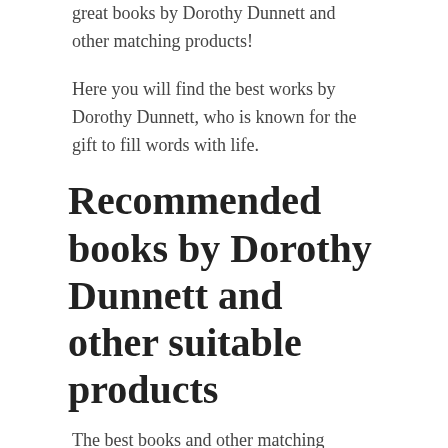great books by Dorothy Dunnett and other matching products!
Here you will find the best works by Dorothy Dunnett, who is known for the gift to fill words with life.
Recommended books by Dorothy Dunnett and other suitable products
The best books and other matching products by Dorothy Dunnett are recommended to be read by...